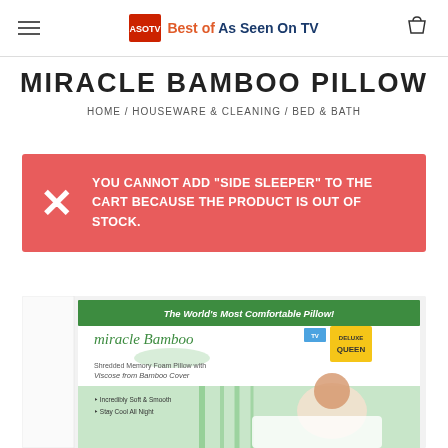Best of As Seen On TV
MIRACLE BAMBOO PILLOW
HOME / HOUSEWARE & CLEANING / BED & BATH
YOU CANNOT ADD "SIDE SLEEPER" TO THE CART BECAUSE THE PRODUCT IS OUT OF STOCK.
[Figure (photo): Miracle Bamboo Pillow product packaging photo showing the box with 'The World's Most Comfortable Pillow!' text, Miracle Bamboo logo, Viscose from Bamboo Cover label, Deluxe Queen badge, and a woman resting on the pillow]